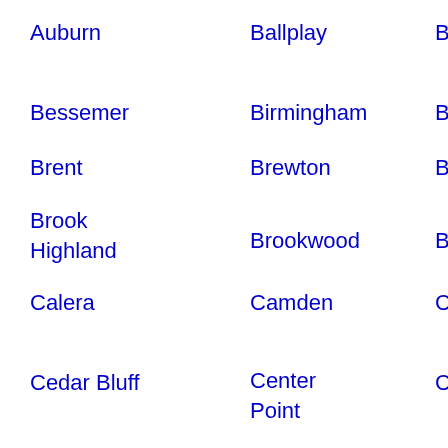Auburn
Ballplay
Bay Minette
Bayou
Batre
Bessemer
Birmingham
Blountsville
Boaz
Brent
Brewton
Bridgeport
Bright
Brook Highland
Brookwood
Brundidge
Butler
Calera
Camden
Carbon Hill
Carlisle
Rockl
Cedar Bluff
Center Point
Centre
Centr